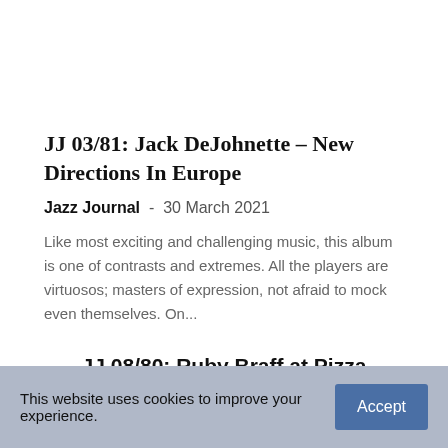JJ 03/81: Jack DeJohnette – New Directions In Europe
Jazz Journal  -  30 March 2021
Like most exciting and challenging music, this album is one of contrasts and extremes. All the players are virtuosos; masters of expression, not afraid to mock even themselves. On...
JJ 08/80: Ruby Braff at Pizza Express
31 August 2020
This website uses cookies to improve your experience.